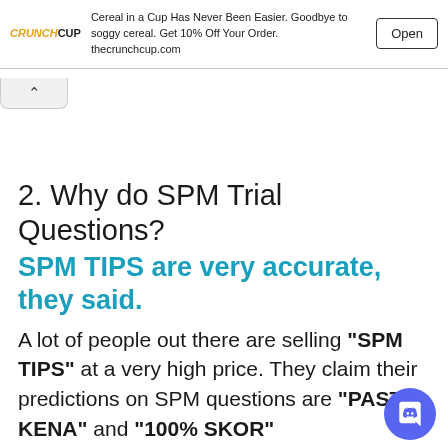[Figure (screenshot): Ad banner for CRUNCHCUP showing logo, text about cereal in a cup, and an Open button]
2. Why do SPM Trial Questions?
SPM TIPS are very accurate, they said.
A lot of people out there are selling "SPM TIPS" at a very high price. They claim their predictions on SPM questions are "PASTI KENA" and "100% SKOR"
But let me tell the truth after